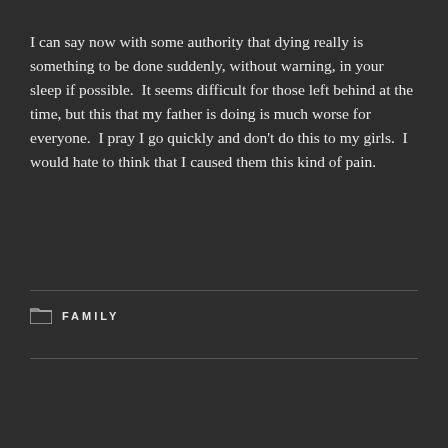I can say now with some authority that dying really is something to be done suddenly, without warning, in your sleep if possible.  It seems difficult for those left behind at the time, but this that my father is doing is much worse for everyone.  I pray I go quickly and don't do this to my girls.  I would hate to think that I caused them this kind of pain.
FAMILY